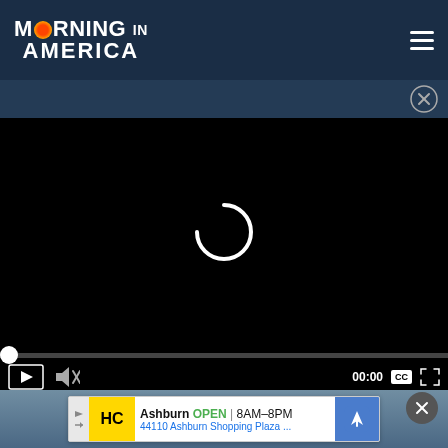[Figure (screenshot): Morning in America website navbar with logo and hamburger menu on dark navy background]
[Figure (screenshot): Video player loading state with black background and white spinner/loading indicator. Progress bar at bottom with playback controls including play, mute, CC button. Time shows 00:00.]
[Figure (screenshot): Advertisement banner: Ashburn OPEN 8AM-8PM, 44110 Ashburn Shopping Plaza... with HC yellow logo and blue navigation arrow icon. Dark close button (X) in top right corner.]